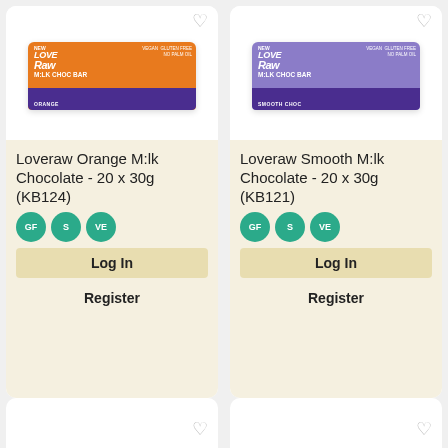[Figure (photo): Loveraw Orange M:lk Chocolate bar packaging - orange and purple wrapper]
Loveraw Orange M:lk Chocolate - 20 x 30g (KB124)
GF S VE
Log In
Register
[Figure (photo): Loveraw Smooth M:lk Chocolate bar packaging - purple wrapper]
Loveraw Smooth M:lk Chocolate - 20 x 30g (KB121)
GF S VE
Log In
Register